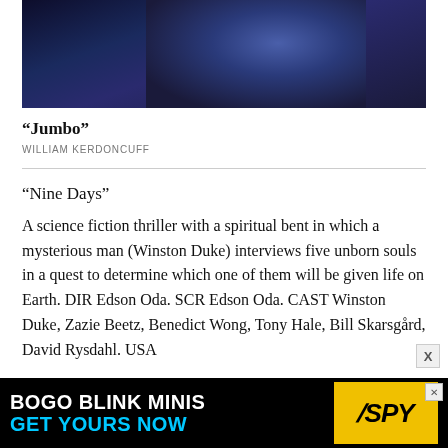[Figure (photo): Dark blue-toned photograph of a person, partially visible, against a dark background with blue tones]
“Jumbo”
WILLIAM KERDONCUFF
“Nine Days”
A science fiction thriller with a spiritual bent in which a mysterious man (Winston Duke) interviews five unborn souls in a quest to determine which one of them will be given life on Earth. DIR Edson Oda. SCR Edson Oda. CAST Winston Duke, Zazie Beetz, Benedict Wong, Tony Hale, Bill Skarsgård, David Rysdahl. USA
“Piedra Sola”
In the remote Argentinian mountainside, a llama herder
[Figure (infographic): Black advertisement bar reading BOGO BLINK MINIS / GET YOURS NOW with SPY logo in yellow]